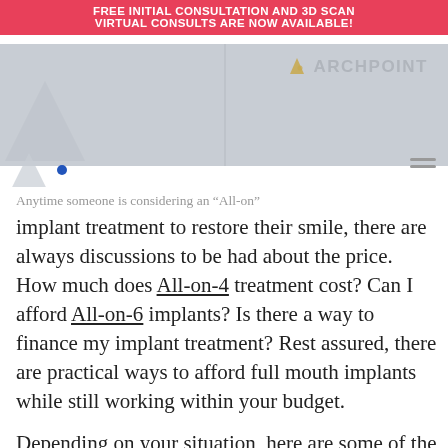FREE INITIAL CONSULTATION AND 3D SCAN
VIRTUAL CONSULTS ARE NOW AVAILABLE!
[Figure (logo): Archpoint dental clinic navigation bar with logo, dot icon, and hamburger menu on grey background]
Anytime someone is considering an “All-on” implant treatment to restore their smile, there are always discussions to be had about the price. How much does All-on-4 treatment cost? Can I afford All-on-6 implants? Is there a way to finance my implant treatment? Rest assured, there are practical ways to afford full mouth implants while still working within your budget.
Depending on your situation, here are some of the options you’ll want to consider when you’re figuring out how to afford full mouth implants: